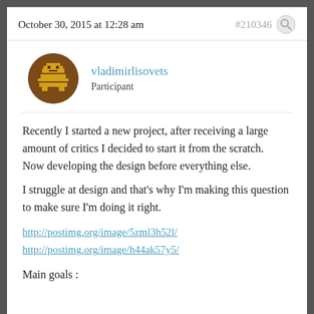October 30, 2015 at 12:28 am   #210346
[Figure (illustration): User avatar: circular brown background with pixel-art golden/yellow icon of a person sitting at a desk or throne]
vladimirlisovets
Participant
Recently I started a new project, after receiving a large amount of critics I decided to start it from the scratch.
Now developing the design before everything else.
I struggle at design and that’s why I’m making this question to make sure I’m doing it right.
http://postimg.org/image/5zml3h52l/
http://postimg.org/image/h44ak57y5/
Main goals :